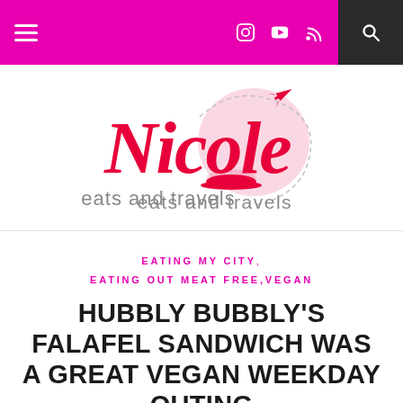Nicole Eats and Travels – navigation bar with hamburger menu, social icons, and search
[Figure (logo): Nicole Eats and Travels logo: stylized cursive 'Nicole' in crimson/pink with a globe and airplane graphic above, and 'eats and travels' in grey sans-serif below]
EATING MY CITY , EATING OUT MEAT FREE , VEGAN
HUBBLY BUBBLY'S FALAFEL SANDWICH WAS A GREAT VEGAN WEEKDAY OUTING